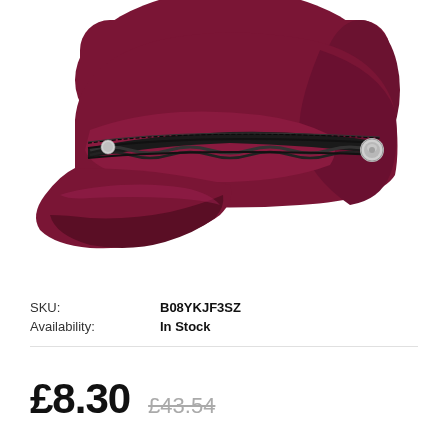[Figure (photo): A dark red/burgundy military-style peaked cap (baker boy/captain hat) with a black twisted rope band and silver button detail on the front brim. The hat is photographed from a slightly elevated angle against a white background.]
SKU: B08YKJF3SZ
Availability: In Stock
£8.30 £43.54